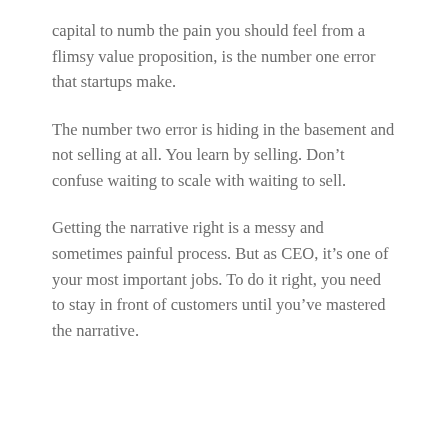capital to numb the pain you should feel from a flimsy value proposition, is the number one error that startups make.
The number two error is hiding in the basement and not selling at all. You learn by selling. Don’t confuse waiting to scale with waiting to sell.
Getting the narrative right is a messy and sometimes painful process. But as CEO, it’s one of your most important jobs. To do it right, you need to stay in front of customers until you’ve mastered the narrative.